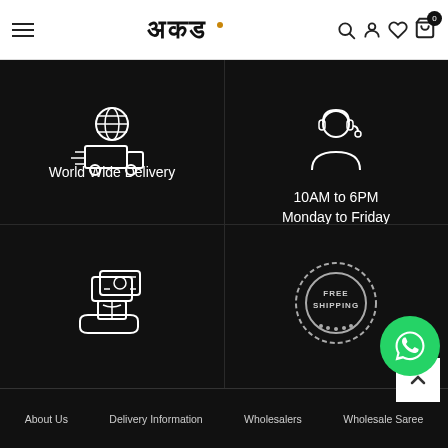अकड – menu, logo, search, account, wishlist, cart (0)
[Figure (illustration): White outline icon of a delivery truck with a globe on top, on black background]
World Wide Delivery
[Figure (illustration): White outline icon of a customer support agent with headset, on black background]
10AM to 6PM
Monday to Friday
[Figure (illustration): White outline icon of a hand receiving cash and a box (pay on delivery), on black background]
Pay on Delivery
[Figure (illustration): Free Shipping circular stamp badge in grey/white on black background]
Free Shipping
About Us   Delivery Information   Wholesalers   Wholesale Saree